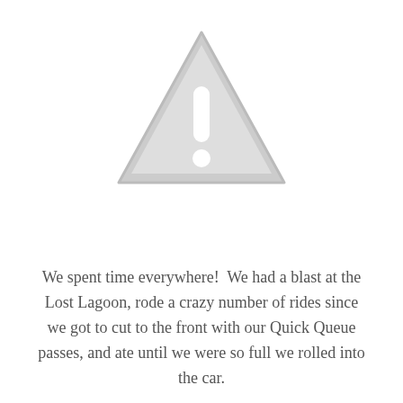[Figure (illustration): A gray warning/caution triangle icon with an exclamation mark inside, representing a missing or unavailable image placeholder.]
We spent time everywhere!  We had a blast at the Lost Lagoon, rode a crazy number of rides since we got to cut to the front with our Quick Queue passes, and ate until we were so full we rolled into the car.